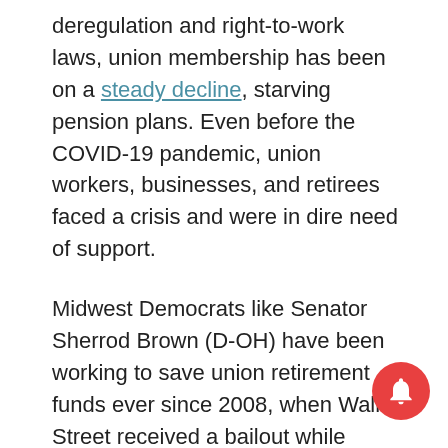deregulation and right-to-work laws, union membership has been on a steady decline, starving pension plans. Even before the COVID-19 pandemic, union workers, businesses, and retirees faced a crisis and were in dire need of support.
Midwest Democrats like Senator Sherrod Brown (D-OH) have been working to save union retirement funds ever since 2008, when Wall Street received a bailout while union pensions took a massive hit, leaving millions of workers out to dry.
But this is good news even for non-union members. It will help support family members in